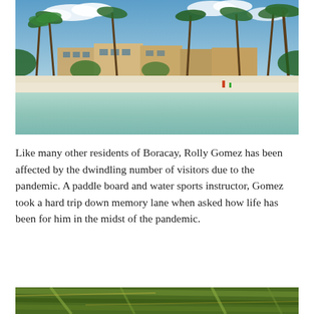[Figure (photo): Boracay beach scene viewed from the water, showing clear shallow turquoise water in the foreground, a white sand beach, and hotels/buildings surrounded by tall palm trees under a partly cloudy blue sky.]
Like many other residents of Boracay, Rolly Gomez has been affected by the dwindling number of visitors due to the pandemic. A paddle board and water sports instructor, Gomez took a hard trip down memory lane when asked how life has been for him in the midst of the pandemic.
[Figure (photo): Close-up of green and yellow palm fronds, partially visible at the bottom of the page.]